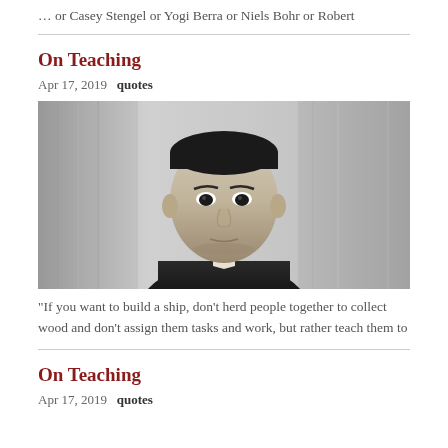… or Casey Stengel or Yogi Berra or Niels Bohr or Robert
On Teaching
Apr 17, 2019   quotes
[Figure (photo): Black and white portrait photograph of a young man in a dark suit, looking directly at the camera against a draped background]
“If you want to build a ship, don’t herd people together to collect wood and don’t assign them tasks and work, but rather teach them to
On Teaching
Apr 17, 2019   quotes